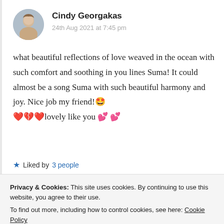[Figure (photo): Circular avatar photo of Cindy Georgakas, a woman outdoors]
Cindy Georgakas
24th Aug 2021 at 7:45 pm
what beautiful reflections of love weaved in the ocean with such comfort and soothing in you lines Suma! It could almost be a song Suma with such beautiful harmony and joy. Nice job my friend!🤩❤️💔❤️lovely like you 💕 💕
★ Liked by 3 people
Privacy & Cookies: This site uses cookies. By continuing to use this website, you agree to their use.
To find out more, including how to control cookies, see here: Cookie Policy
Close and accept
Suma Reddy